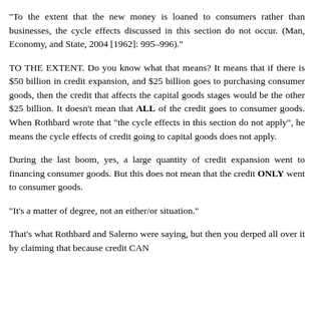"To the extent that the new money is loaned to consumers rather than businesses, the cycle effects discussed in this section do not occur. (Man, Economy, and State, 2004 [1962]: 995–996)."
TO THE EXTENT. Do you know what that means? It means that if there is $50 billion in credit expansion, and $25 billion goes to purchasing consumer goods, then the credit that affects the capital goods stages would be the other $25 billion. It doesn't mean that ALL of the credit goes to consumer goods. When Rothbard wrote that "the cycle effects in this section do not apply", he means the cycle effects of credit going to capital goods does not apply.
During the last boom, yes, a large quantity of credit expansion went to financing consumer goods. But this does not mean that the credit ONLY went to consumer goods.
"It's a matter of degree, not an either/or situation."
That's what Rothbard and Salerno were saying, but then you derped all over it by claiming that because credit CAN